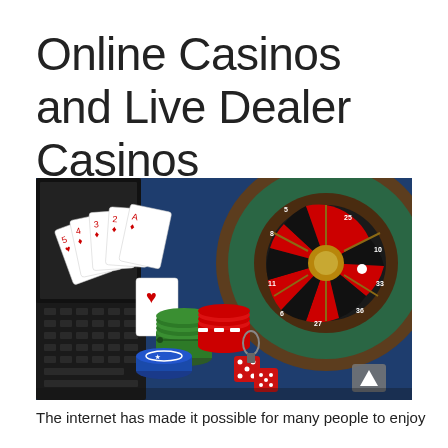Online Casinos and Live Dealer Casinos
[Figure (photo): Photo of casino items on a blue surface: playing cards fanned out on a laptop keyboard, stacks of poker chips (blue, red/white, green), red dice, and a roulette wheel in the background on the right side.]
The internet has made it possible for many people to enjoy